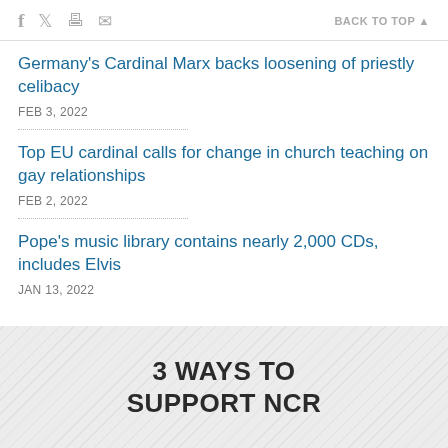f  [twitter]  [print]  [mail]    BACK TO TOP ▲
Germany's Cardinal Marx backs loosening of priestly celibacy
FEB 3, 2022
Top EU cardinal calls for change in church teaching on gay relationships
FEB 2, 2022
Pope's music library contains nearly 2,000 CDs, includes Elvis
JAN 13, 2022
3 WAYS TO SUPPORT NCR